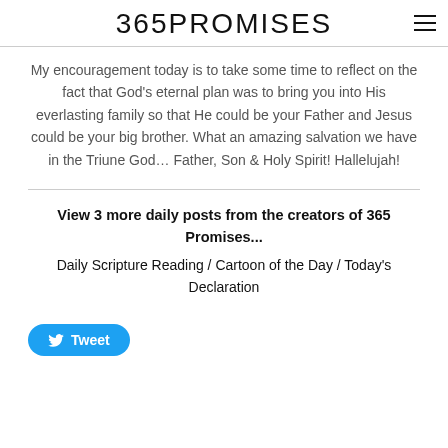365PROMISES
My encouragement today is to take some time to reflect on the fact that God’s eternal plan was to bring you into His everlasting family so that He could be your Father and Jesus could be your big brother. What an amazing salvation we have in the Triune God… Father, Son & Holy Spirit! Hallelujah!
View 3 more daily posts from the creators of 365 Promises...
Daily Scripture Reading / Cartoon of the Day / Today’s Declaration